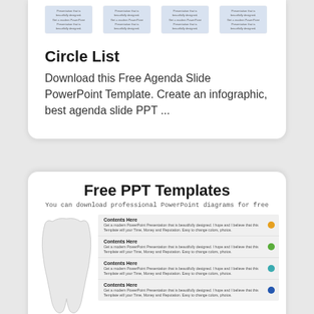[Figure (screenshot): Four thumbnail images of PowerPoint template slides showing minimal placeholder text]
Circle List
Download this Free Agenda Slide PowerPoint Template. Create an infographic, best agenda slide PPT ...
Free PPT Templates
You can download professional PowerPoint diagrams for free
[Figure (screenshot): Template preview showing a tooth-shaped graphic on left and four content rows with colored dots (orange, green, teal, blue) on right. Each row has 'Contents Here' heading and description text.]